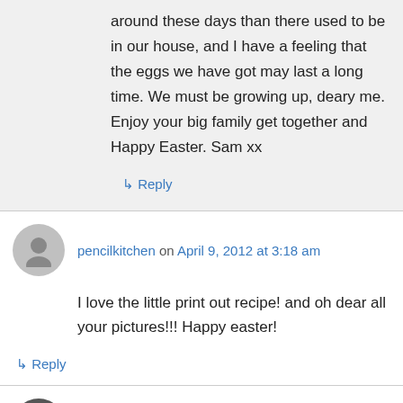around these days than there used to be in our house, and I have a feeling that the eggs we have got may last a long time. We must be growing up, deary me. Enjoy your big family get together and Happy Easter. Sam xx
↳ Reply
pencilkitchen on April 9, 2012 at 3:18 am
I love the little print out recipe! and oh dear all your pictures!!! Happy easter!
↳ Reply
k.m. on April 10, 2012 at 12:46 am